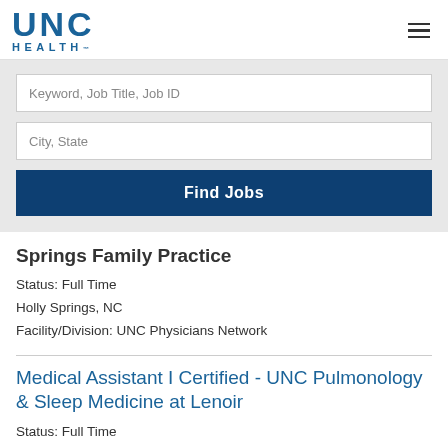[Figure (logo): UNC Health logo in blue]
Keyword, Job Title, Job ID
City, State
Find Jobs
Springs Family Practice
Status: Full Time
Holly Springs, NC
Facility/Division: UNC Physicians Network
Medical Assistant I Certified - UNC Pulmonology & Sleep Medicine at Lenoir
Status: Full Time